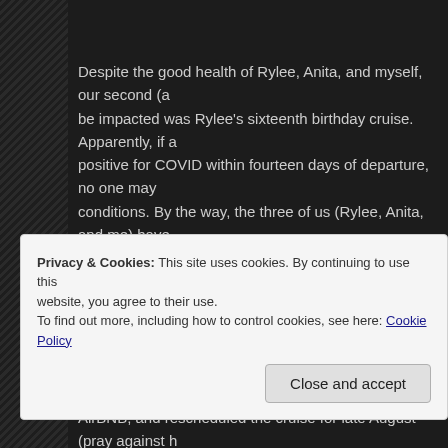Despite the good health of Rylee, Anita, and myself, our second (a be impacted was Rylee's sixteenth birthday cruise. Apparently, if a positive for COVID within fourteen days of departure, no one may conditions. By the way, the three of us (Rylee, Anita, and me) have COVID free for well over fourteen days. Everyone in our house is We were supposed to board the ship on July 1. Yep, tomorrow.
Through God's kindness we were able to get nearly an entire refu AirBNB, and rescheduled the cruise for late August (pray against h just in time for Mac, Declan and I to see Dude Perfect in Charlotte activity not to be impacted by our brush with the pandemic.
Privacy & Cookies: This site uses cookies. By continuing to use this website, you agree to their use.
To find out more, including how to control cookies, see here: Cookie Policy
Close and accept